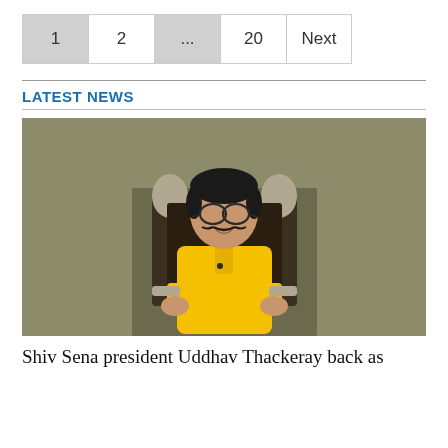1  2  ...  20  Next
LATEST NEWS
[Figure (photo): Man in yellow kurta sitting on an ornate chair, smiling, with glasses and a moustache, against an olive/beige wall background.]
Shiv Sena president Uddhav Thackeray back as